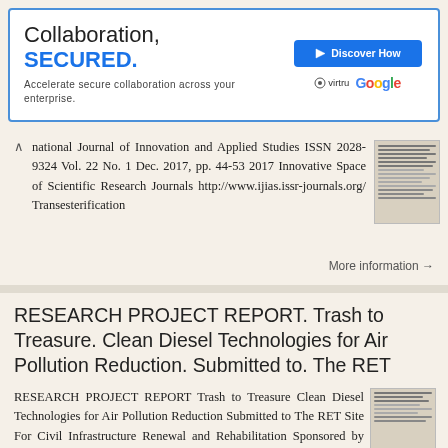[Figure (other): Advertisement banner: 'Collaboration, SECURED. Accelerate secure collaboration across your enterprise.' with Discover How button, Virtru and Google logos]
national Journal of Innovation and Applied Studies ISSN 2028-9324 Vol. 22 No. 1 Dec. 2017, pp. 44-53 2017 Innovative Space of Scientific Research Journals http://www.ijias.issr-journals.org/ Transesterification
More information →
RESEARCH PROJECT REPORT. Trash to Treasure. Clean Diesel Technologies for Air Pollution Reduction. Submitted to. The RET
RESEARCH PROJECT REPORT Trash to Treasure Clean Diesel Technologies for Air Pollution Reduction Submitted to The RET Site For Civil Infrastructure Renewal and Rehabilitation Sponsored by The National Science